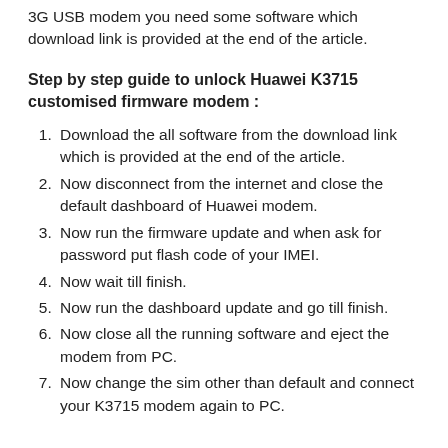3G USB modem you need some software which download link is provided at the end of the article.
Step by step guide to unlock Huawei K3715 customised firmware modem :
Download the all software from the download link which is provided at the end of the article.
Now disconnect from the internet and close the default dashboard of Huawei modem.
Now run the firmware update and when ask for password put flash code of your IMEI.
Now wait till finish.
Now run the dashboard update and go till finish.
Now close all the running software and eject the modem from PC.
Now change the sim other than default and connect your K3715 modem again to PC.